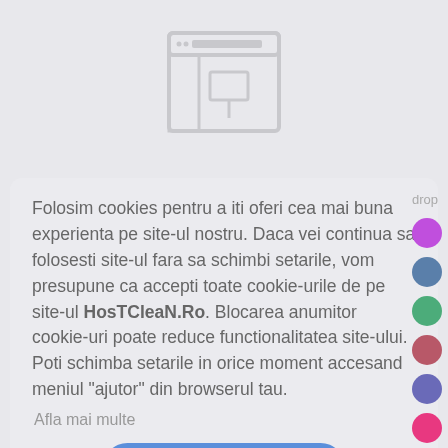[Figure (illustration): Browser window icon outline in light gray]
Folosim cookies pentru a iti oferi cea mai buna experienta pe site-ul nostru. Daca vei continua sa folosesti site-ul fara sa schimbi setarile, vom presupune ca accepti toate cookie-urile de pe site-ul HosTCleaN.Ro. Blocarea anumitor cookie-uri poate reduce functionalitatea site-ului. Poti schimba setarile in orice moment accesand meniul "ajutor" din browserul tau.
Afla mai multe
[Figure (illustration): Vertical column of 7 colored dots (purple, blue, green, rose, indigo, pink, navy) with label 'drop']
Am inteles !
E-Commerce